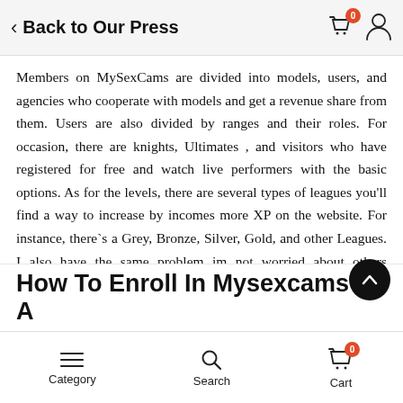< Back to Our Press
Members on MySexCams are divided into models, users, and agencies who cooperate with models and get a revenue share from them. Users are also divided by ranges and their roles. For occasion, there are knights, Ultimates , and visitors who have registered for free and watch live performers with the basic options. As for the levels, there are several types of leagues you'll find a way to increase by incomes more XP on the website. For instance, there`s a Grey, Bronze, Silver, Gold, and other Leagues. I also have the same problem im not worried about others however i additionally a premium type gal. There can be the option to arrange a Fan membership.
How To Enroll In Mysexcams As A
Category   Search   Cart